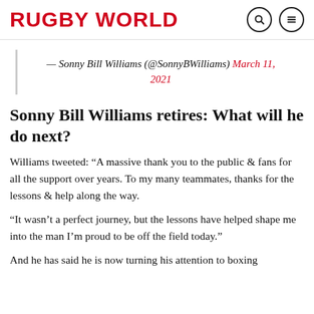RUGBY WORLD
— Sonny Bill Williams (@SonnyBWilliams) March 11, 2021
Sonny Bill Williams retires: What will he do next?
Williams tweeted: “A massive thank you to the public & fans for all the support over years. To my many teammates, thanks for the lessons & help along the way.
“It wasn’t a perfect journey, but the lessons have helped shape me into the man I’m proud to be off the field today.”
And he has said he is now turning his attention to boxing